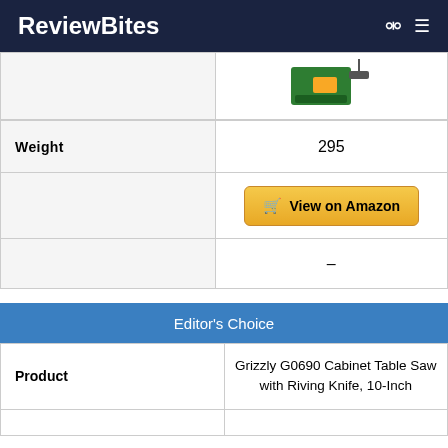ReviewBites
[Figure (photo): Partial view of a green cabinet table saw product image]
|  |  |
| --- | --- |
| Weight | 295 |
|  | View on Amazon |
|  | – |
| Editor's Choice |  |
| --- | --- |
| Product | Grizzly G0690 Cabinet Table Saw with Riving Knife, 10-Inch |
|  |  |